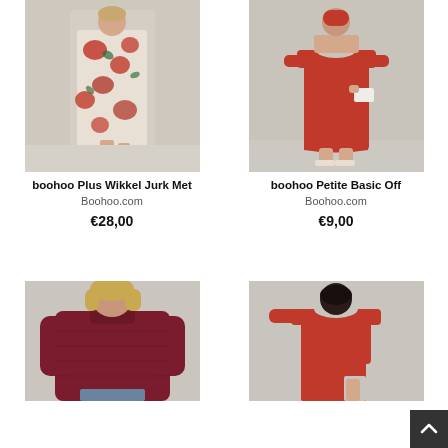[Figure (photo): Woman wearing a floral red wrap maxi dress from boohoo Plus collection]
boohoo Plus Wikkel Jurk Met
Boohoo.com
€28,00
[Figure (photo): Woman wearing a red off-shoulder bodycon mini dress from boohoo Petite collection]
boohoo Petite Basic Off
Boohoo.com
€9,00
[Figure (photo): Woman wearing a dark red/burgundy chunky knit sweater]
[Figure (photo): Woman wearing a red off-shoulder long sleeve slit maxi dress]